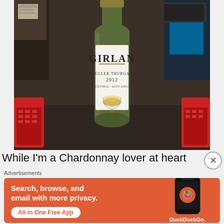[Figure (photo): Photo of a Girlan Müller Thurgau 2012 Südtirol - Alto Adige wine bottle with white label, sitting on a dark surface. Red objects (calculators) visible on left and right sides. Electronics visible in background.]
While I'm a Chardonnay lover at heart
Advertisements
[Figure (infographic): DuckDuckGo advertisement banner with orange background. Text: 'Search, browse, and email with more privacy. All in One Free App'. Shows a smartphone with DuckDuckGo app and logo.]